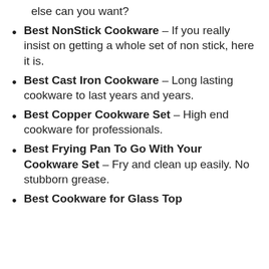else can you want?
Best NonStick Cookware – If you really insist on getting a whole set of non stick, here it is.
Best Cast Iron Cookware – Long lasting cookware to last years and years.
Best Copper Cookware Set – High end cookware for professionals.
Best Frying Pan To Go With Your Cookware Set – Fry and clean up easily. No stubborn grease.
Best Cookware for Glass Top